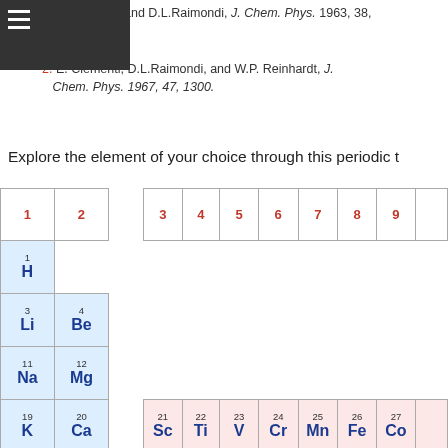1. E. Clementi and D.L.Raimondi, J. Chem. Phys. 1963, 38, 2686.
2. E. Clementi, D.L.Raimondi, and W.P. Reinhardt, J. Chem. Phys. 1967, 47, 1300.
Explore the element of your choice through this periodic t
[Figure (other): Partial periodic table of elements showing groups 1-9+ and periods 1-7, with element symbols, atomic numbers, colored cells (blue for main group, pink for transition metals). Elements shown include H, Li, Be, Na, Mg, K, Ca, Rb, Sr, Cs, Ba, Fr, Ra in groups 1-2; Sc, Ti, V, Cr, Mn, Fe, Co in period 4; Y, Zr, Nb, Mo, Tc, Ru, Rh in period 5; Lu, Hf, Ta, W, Re, Os, Ir in period 6; and row 7 starting at 103-109.]